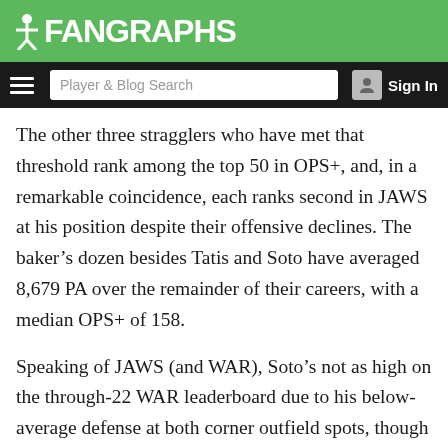FanGraphs
The other three stragglers who have met that threshold rank among the top 50 in OPS+, and, in a remarkable coincidence, each ranks second in JAWS at his position despite their offensive declines. The baker’s dozen besides Tatis and Soto have averaged 8,679 PA over the remainder of their careers, with a median OPS+ of 158.
Speaking of JAWS (and WAR), Soto’s not as high on the through-22 WAR leaderboard due to his below-average defense at both corner outfield spots, though he was in the black in both UZR and DRS last year, his first full season since moving from